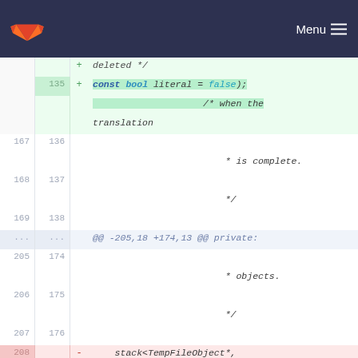[Figure (screenshot): GitLab navigation bar with orange fox logo and Menu button on dark navy background]
Code diff view showing lines 135-209 of a C++ file. Added line 135: const bool literal = false); /* when the translation. Lines 136-138 (167-169): * is complete. */. Hunk: @@ -205,18 +174,13 @@ private:. Lines 174-176 (205-207): * objects. */. Removed lines 208-209: stack<TempFileObject*, /* Stack for storing */ and deque<TempFileObject*, /* temporary file